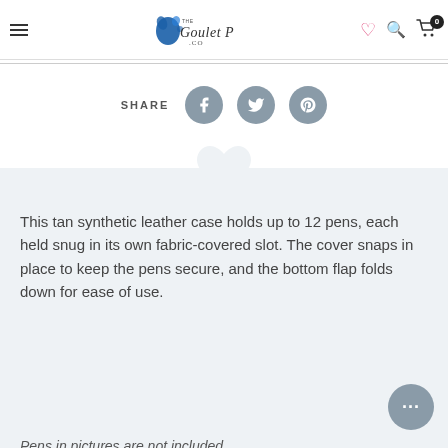[Figure (logo): Goulet Pen Co logo with blue ink splash and stylized script text]
SHARE
[Figure (infographic): Social share buttons: Facebook, Twitter, Pinterest]
This tan synthetic leather case holds up to 12 pens, each held snug in its own fabric-covered slot. The cover snaps in place to keep the pens secure, and the bottom flap folds down for ease of use.
Pens in pictures are not included.